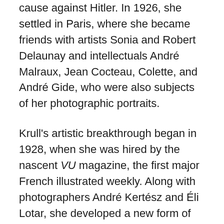cause against Hitler. In 1926, she settled in Paris, where she became friends with artists Sonia and Robert Delaunay and intellectuals André Malraux, Jean Cocteau, Colette, and André Gide, who were also subjects of her photographic portraits.
Krull's artistic breakthrough began in 1928, when she was hired by the nascent VU magazine, the first major French illustrated weekly. Along with photographers André Kertész and Éli Lotar, she developed a new form of reportage rooted in a freedom of expression and closeness to her subjects that resulted in intimate close-ups, all facilitated by her small-format Icarette, a portable, folding bed camera. During this period, she published the portfolio, Metal (Métal) (1928), a collection of 64 pictures of modernist iron giants, including cranes, railways, power generators, the Rotterdam transporter bridge, and the